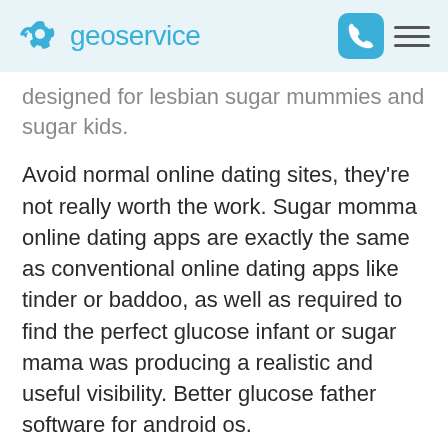geoservice
designed for lesbian sugar mummies and sugar kids.
Avoid normal online dating sites, they're not really worth the work. Sugar momma online dating apps are exactly the same as conventional online dating apps like tinder or baddoo, as well as required to find the perfect glucose infant or sugar mama was producing a realistic and useful visibility. Better glucose father software for android os.